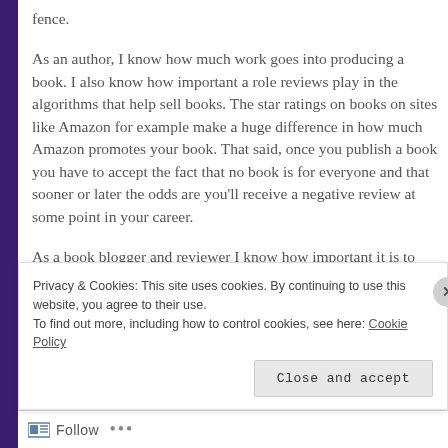fence.
As an author, I know how much work goes into producing a book. I also know how important a role reviews play in the algorithms that help sell books. The star ratings on books on sites like Amazon for example make a huge difference in how much Amazon promotes your book. That said, once you publish a book you have to accept the fact that no book is for everyone and that sooner or later the odds are you'll receive a negative review at some point in your career.
As a book blogger and reviewer I know how important it is to
Privacy & Cookies: This site uses cookies. By continuing to use this website, you agree to their use.
To find out more, including how to control cookies, see here: Cookie Policy
Close and accept
Follow